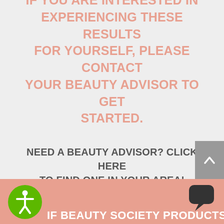IF YOU ARE INTERESTED IN EXPERIENCING THESE RESULTS FOR YOURSELF, PLEASE CONTACT YOUR BEAUTY ADVISOR TO GET STARTED.
NEED A BEAUTY ADVISOR? CLICK HERE TO FIND ONE IN YOUR AREA!
[Figure (illustration): Back to top arrow button — gray rectangle with white upward chevron arrow]
[Figure (logo): Green circle accessibility icon with human figure]
[Figure (illustration): Dark chat bubble icon]
IF BEAUTY SOCIETY PRODUCTS HA…